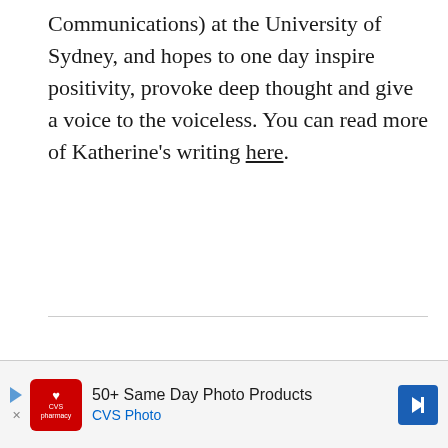Communications) at the University of Sydney, and hopes to one day inspire positivity, provoke deep thought and give a voice to the voiceless. You can read more of Katherine's writing here.
[Figure (screenshot): CVS Pharmacy advertisement banner: 50+ Same Day Photo Products, CVS Photo]